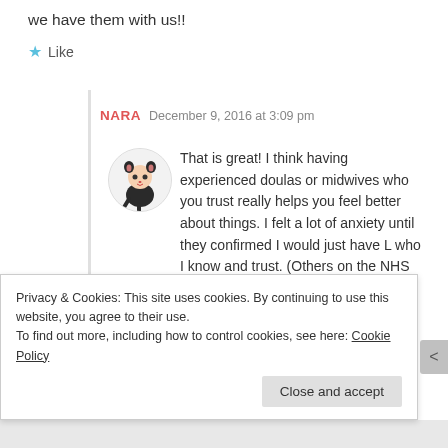we have them with us!!
★ Like
NARA   December 9, 2016 at 3:09 pm
[Figure (illustration): Circular avatar of a cartoon character dressed in a black cat/bear outfit]
That is great! I think having experienced doulas or midwives who you trust really helps you feel better about things. I felt a lot of anxiety until they confirmed I would just have L who I know and trust. (Others on the NHS get a random
Privacy & Cookies: This site uses cookies. By continuing to use this website, you agree to their use. To find out more, including how to control cookies, see here: Cookie Policy
Close and accept